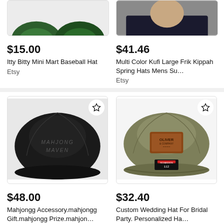[Figure (photo): Partial top view of a green baseball hat (cropped)]
[Figure (photo): Partial view of a person wearing a dark top, head/face cropped (cropped)]
$15.00
Itty Bitty Mini Mart Baseball Hat
Etsy
$41.46
Multi Color Kufi Large Frik Kippah Spring Hats Mens Su...
Etsy
[Figure (photo): Black baseball cap with 'MAHJONG MAVEN' text embroidered, with a star/favorite button overlay]
[Figure (photo): Tan/olive Richardson 112 snapback cap with brown leather 'Oliver & Company' patch, with a star/favorite button overlay]
$48.00
Mahjongg Accessory.mahjongg Gift.mahjongg Prize.mahjon...
$32.40
Custom Wedding Hat For Bridal Party. Personalized Ha...